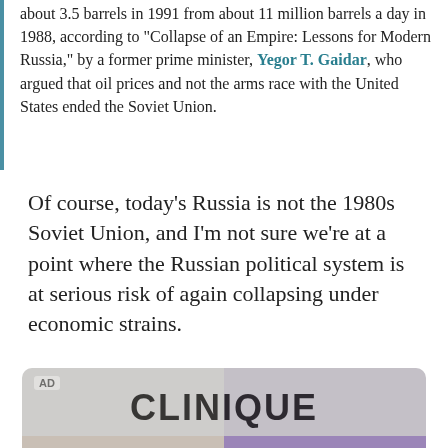about 3.5 barrels in 1991 from about 11 million barrels a day in 1988, according to "Collapse of an Empire: Lessons for Modern Russia," by a former prime minister, Yegor T. Gaidar, who argued that oil prices and not the arms race with the United States ended the Soviet Union.
Of course, today's Russia is not the 1980s Soviet Union, and I'm not sure we're at a point where the Russian political system is at serious risk of again collapsing under economic strains.
[Figure (other): Advertisement for Clinique showing a woman's face split down the middle — left side natural/white background, right side with purple tint. AD label in top left corner. CLINIQUE brand name displayed prominently at top.]